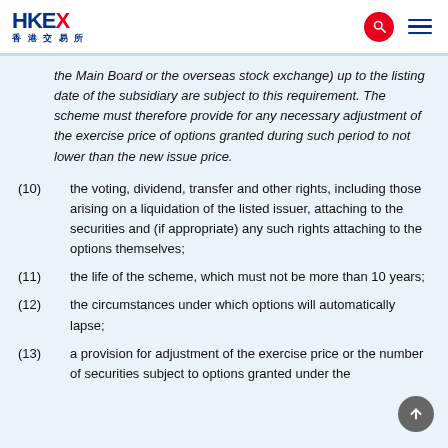HKEX 香港交易所
the Main Board or the overseas stock exchange) up to the listing date of the subsidiary are subject to this requirement. The scheme must therefore provide for any necessary adjustment of the exercise price of options granted during such period to not lower than the new issue price.
(10) the voting, dividend, transfer and other rights, including those arising on a liquidation of the listed issuer, attaching to the securities and (if appropriate) any such rights attaching to the options themselves;
(11) the life of the scheme, which must not be more than 10 years;
(12) the circumstances under which options will automatically lapse;
(13) a provision for adjustment of the exercise price or the number of securities subject to options granted under the